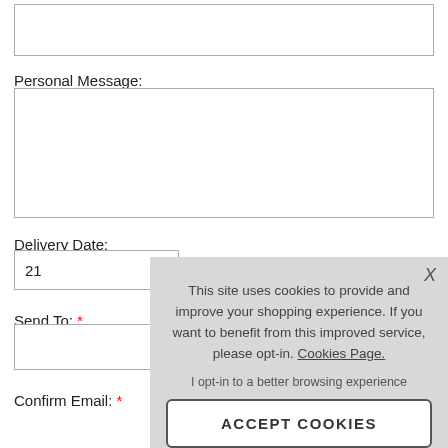[Figure (screenshot): Text area input box at top of page (partially visible, no label)]
Personal Message:
[Figure (screenshot): Large textarea input for personal message]
Delivery Date:
[Figure (screenshot): Dropdown select box showing value 21 with arrow]
Send To: *
[Figure (screenshot): Text input box for Send To field]
Confirm Email: *
This site uses cookies to provide and improve your shopping experience. If you want to benefit from this improved service, please opt-in. Cookies Page.
I opt-in to a better browsing experience
ACCEPT COOKIES